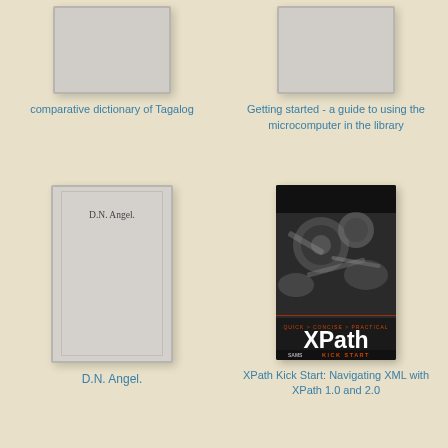[Figure (illustration): Placeholder book cover for 'comparative dictionary of Tagalog', gray rectangle]
comparative dictionary of Tagalog
[Figure (illustration): Placeholder book cover for 'Getting started - a guide to using the microcomputer in the library', gray rectangle]
Getting started - a guide to using the microcomputer in the library
[Figure (illustration): Book cover for 'D.N. Angel.' with white inner border and text 'D.N. Angel.']
D.N. Angel.
[Figure (illustration): Book cover for XPath Kick Start with dark background, machinery image, and title 'XPath KICK START' by SAMS]
XPath Kick Start: Navigating XML with XPath 1.0 and 2.0